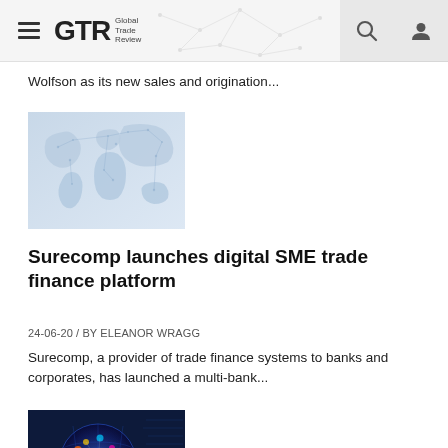GTR Global Trade Review
Wolfson as its new sales and origination...
[Figure (photo): World map illustration with blue tones and dot/network overlay]
Surecomp launches digital SME trade finance platform
24-06-20 / BY ELEANOR WRAGG
Surecomp, a provider of trade finance systems to banks and corporates, has launched a multi-bank...
[Figure (photo): Colorful digital globe/network technology illustration]